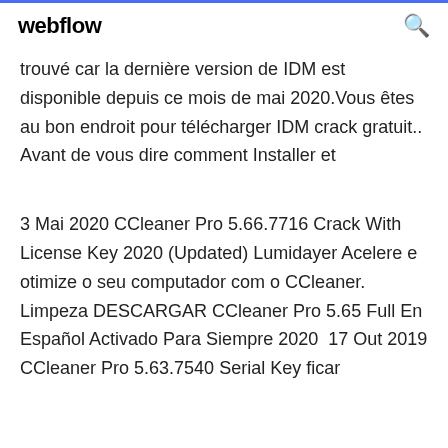webflow
trouvé car la dernière version de IDM est disponible depuis ce mois de mai 2020.Vous êtes au bon endroit pour télécharger IDM crack gratuit.. Avant de vous dire comment Installer et
3 Mai 2020 CCleaner Pro 5.66.7716 Crack With License Key 2020 (Updated) Lumidayer Acelere e otimize o seu computador com o CCleaner. Limpeza DESCARGAR CCleaner Pro 5.65 Full En Español Activado Para Siempre 2020  17 Out 2019 CCleaner Pro 5.63.7540 Serial Key ficar